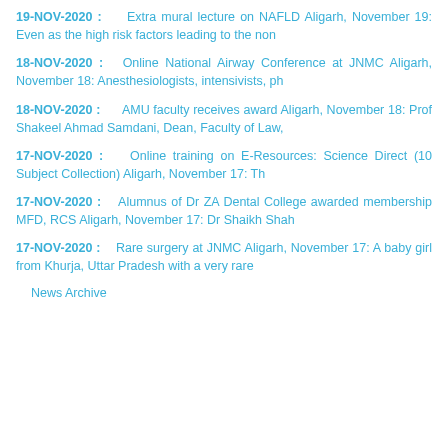19-NOV-2020 :    Extra mural lecture on NAFLD Aligarh, November 19: Even as the high risk factors leading to the non
18-NOV-2020 :   Online National Airway Conference at JNMC Aligarh, November 18: Anesthesiologists, intensivists, ph
18-NOV-2020 :      AMU faculty receives award Aligarh, November 18: Prof Shakeel Ahmad Samdani, Dean, Faculty of Law,
17-NOV-2020 :    Online training on E-Resources: Science Direct (10 Subject Collection) Aligarh, November 17: Th
17-NOV-2020 :    Alumnus of Dr ZA Dental College awarded membership MFD, RCS Aligarh, November 17: Dr Shaikh Shah
17-NOV-2020 :    Rare surgery at JNMC Aligarh, November 17: A baby girl from Khurja, Uttar Pradesh with a very rare
News Archive